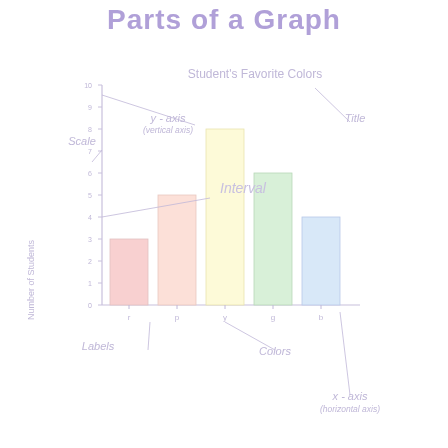Parts of a Graph
[Figure (bar-chart): Student's Favorite Colors]
Scale
y - axis (vertical axis)
Title
Interval
Labels
Colors
x - axis (horizontal axis)